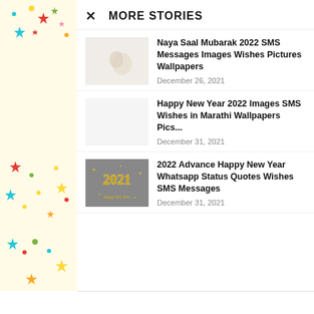[Figure (illustration): Yellow decorative panel with colorful stars scattered across it]
MORE STORIES
Naya Saal Mubarak 2022 SMS Messages Images Wishes Pictures Wallpapers
December 26, 2021
Happy New Year 2022 Images SMS Wishes in Marathi Wallpapers Pics...
December 31, 2021
[Figure (photo): Gray image showing golden 2021 text with Happy New Year written below]
2022 Advance Happy New Year Whatsapp Status Quotes Wishes SMS Messages
December 31, 2021